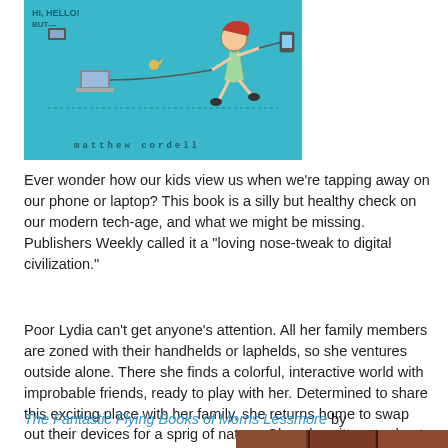[Figure (illustration): Book cover for a children's book on teal/cyan background with a running girl figure and digital devices (phone, laptop), author name 'matthew cordell' at bottom in spaced monospace text.]
Ever wonder how our kids view us when we’re tapping away on our phone or laptop? This book is a silly but healthy check on our modern tech-age, and what we might be missing. Publishers Weekly called it a “loving nose-tweak to digital civilization.”
Poor Lydia can’t get anyone’s attention. All her family members are zoned with their handhelds or laphelds, so she ventures outside alone. There she finds a colorful, interactive world with improbable friends, ready to play with her. Determined to share this exciting place with her family, she returns home to swap out their devices for a sprig of nature. Cleverly written, and apt for our digital day, this book is a must-read for any kid with (or wanting) a phone.
The Fantastic Flying Books of Morris Lessmore by